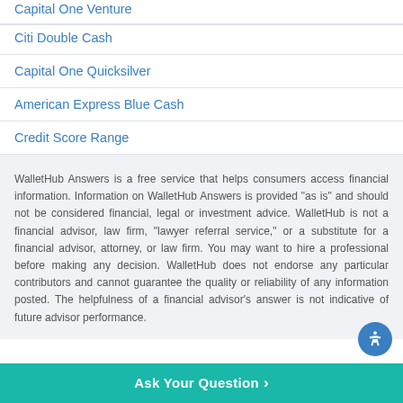Capital One Venture
Citi Double Cash
Capital One Quicksilver
American Express Blue Cash
Credit Score Range
WalletHub Answers is a free service that helps consumers access financial information. Information on WalletHub Answers is provided "as is" and should not be considered financial, legal or investment advice. WalletHub is not a financial advisor, law firm, "lawyer referral service," or a substitute for a financial advisor, attorney, or law firm. You may want to hire a professional before making any decision. WalletHub does not endorse any particular contributors and cannot guarantee the quality or reliability of any information posted. The helpfulness of a financial advisor's answer is not indicative of future advisor performance.
Ask Your Question